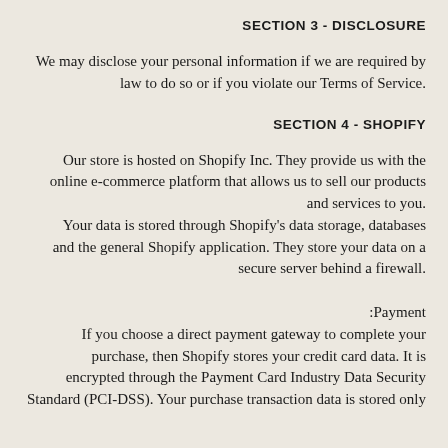SECTION 3 - DISCLOSURE
We may disclose your personal information if we are required by law to do so or if you violate our Terms of Service.
SECTION 4 - SHOPIFY
Our store is hosted on Shopify Inc. They provide us with the online e-commerce platform that allows us to sell our products and services to you. Your data is stored through Shopify's data storage, databases and the general Shopify application. They store your data on a secure server behind a firewall.
Payment: If you choose a direct payment gateway to complete your purchase, then Shopify stores your credit card data. It is encrypted through the Payment Card Industry Data Security Standard (PCI-DSS). Your purchase transaction data is stored only